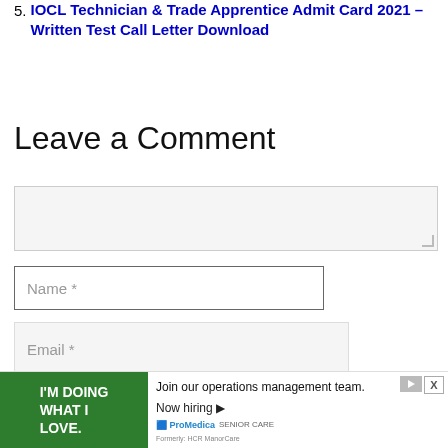5. IOCL Technician & Trade Apprentice Admit Card 2021 – Written Test Call Letter Download
Leave a Comment
[Comment textarea]
Name *
Email *
Post Comment
[Figure (screenshot): Advertisement banner: green panel with 'I'M DOING WHAT I LOVE.' text, followed by 'Join our operations management team. Now hiring.' with ProMedica Senior Care logo. Includes play and close (X) buttons.]